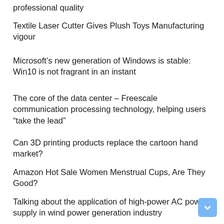professional quality
Textile Laser Cutter Gives Plush Toys Manufacturing vigour
Microsoft’s new generation of Windows is stable: Win10 is not fragrant in an instant
The core of the data center – Freescale communication processing technology, helping users “take the lead”
Can 3D printing products replace the cartoon hand market?
Amazon Hot Sale Women Menstrual Cups, Are They Good?
Talking about the application of high-power AC power supply in wind power generation industry
Kickstart: Will a private equity backer help make fetch happen?